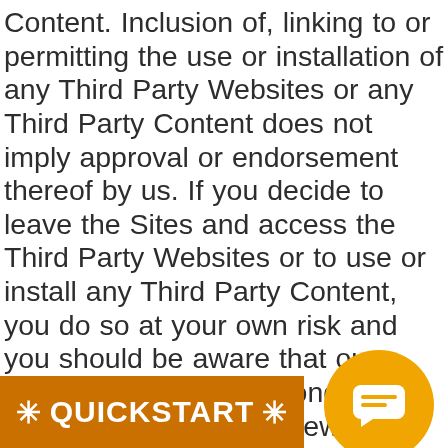Content. Inclusion of, linking to or permitting the use or installation of any Third Party Websites or any Third Party Content does not imply approval or endorsement thereof by us. If you decide to leave the Sites and access the Third Party Websites or to use or install any Third Party Content, you do so at your own risk and you should be aware that our terms and policies no longer govern. You should review the applicable terms and policies, including privacy and data gathering practices, of any websites to which you navigate from the Sites or relating to any applications you use or install from the Sites. Any purchases you make through Third Party Websites will be through other websites and from other companies, and RPGStock takes no lation to such p es you and the applicable
[Figure (other): Orange QUICKSTART button bar at bottom left with asterisk decorations and white bold text]
[Figure (other): Gold/amber circular chat bubble icon at bottom right with white speech bubble symbol]